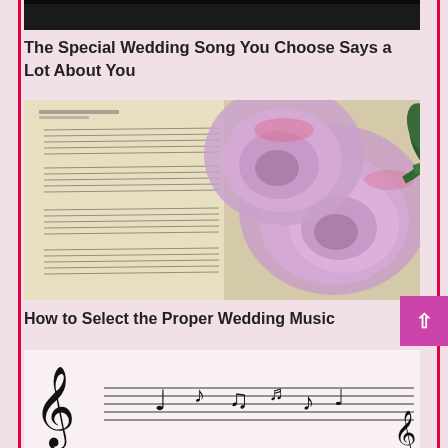[Figure (photo): Top portion of a dark image, partially cropped at the top of the page]
The Special Wedding Song You Choose Says a Lot About You
[Figure (photo): A hymn book open to sheet music with two purple/lavender roses with pink edges laid on top of the pages]
How to Select the Proper Wedding Music
[Figure (illustration): Musical notes and treble clef symbols on a staff, illustrated in black and white]